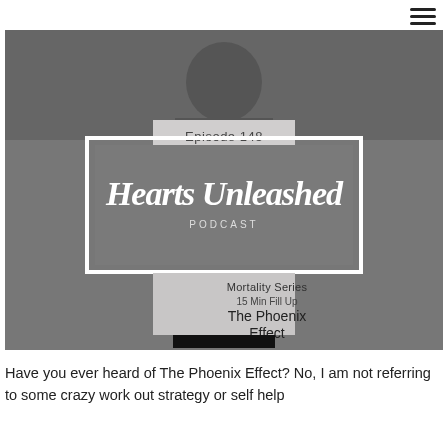[Figure (illustration): Podcast episode graphic for 'Hearts Unleashed Podcast' Episode 148, Mortality Series – 15 Min Fill Up – The Phoenix Effect. Black and white image with a person in background, central grey box with white script logo, and light grey box below with episode title text.]
Have you ever heard of The Phoenix Effect? No, I am not referring to some crazy work out strategy or self help